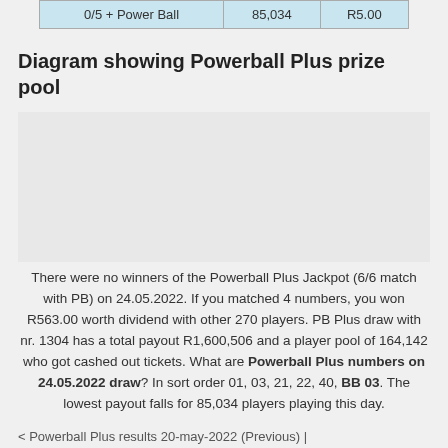| 0/5 + Power Ball | 85,034 | R5.00 |
Diagram showing Powerball Plus prize pool
[Figure (other): Empty diagram area for Powerball Plus prize pool]
There were no winners of the Powerball Plus Jackpot (6/6 match with PB) on 24.05.2022. If you matched 4 numbers, you won R563.00 worth dividend with other 270 players. PB Plus draw with nr. 1304 has a total payout R1,600,506 and a player pool of 164,142 who got cashed out tickets. What are Powerball Plus numbers on 24.05.2022 draw? In sort order 01, 03, 21, 22, 40, BB 03. The lowest payout falls for 85,034 players playing this day.
< Powerball Plus results 20-may-2022 (Previous) |